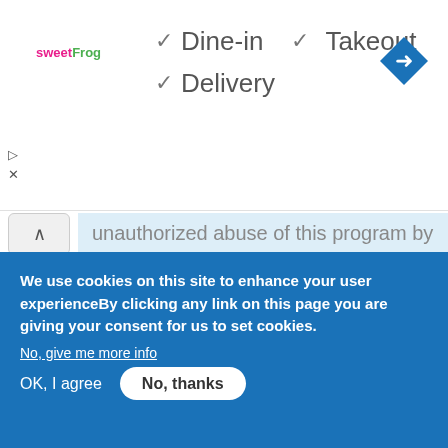[Figure (logo): sweetFrog logo in pink and green text]
✓ Dine-in  ✓ Takeout  ✓ Delivery
[Figure (illustration): Blue diamond navigation/map icon with right-turn arrow]
unauthorized abuse of this program by some unscrupulous elements. Please be warned. To file for your claim,please contact our corresponding agent in Uk immediately you read this message for quick and urgent release of your fund, contact information is as follow:
We use cookies on this site to enhance your user experienceBy clicking any link on this page you are giving your consent for us to set cookies.
No, give me more info
OK, I agree
No, thanks